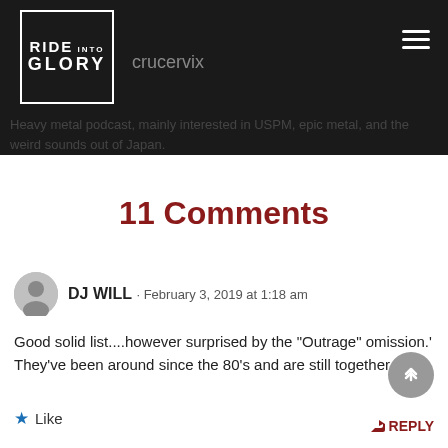crucervix — Heavy metal podcast, mainly interested in USPM, epic metal, and the weird sounds out of Japan.
11 Comments
DJ WILL · February 3, 2019 at 1:18 am
Good solid list....however surprised by the "Outrage" omission.'
They've been around since the 80's and are still together.
★ Like
REPLY